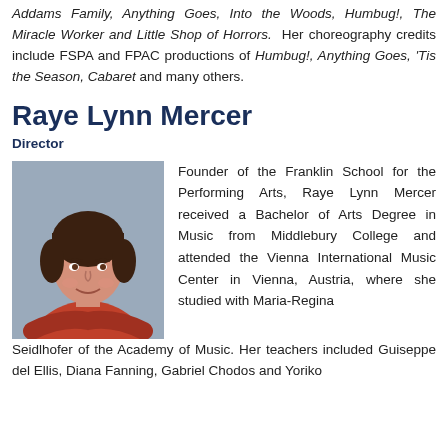Addams Family, Anything Goes, Into the Woods, Humbug!, The Miracle Worker and Little Shop of Horrors. Her choreography credits include FSPA and FPAC productions of Humbug!, Anything Goes, 'Tis the Season, Cabaret and many others.
Raye Lynn Mercer
Director
[Figure (photo): Headshot of Raye Lynn Mercer, a woman with short dark hair wearing a red sweater, arms crossed, smiling.]
Founder of the Franklin School for the Performing Arts, Raye Lynn Mercer received a Bachelor of Arts Degree in Music from Middlebury College and attended the Vienna International Music Center in Vienna, Austria, where she studied with Maria-Regina Seidlhofer of the Academy of Music. Her teachers included Guiseppe delEllis, Diana Fanning, Gabriel Chodos and Yoriko...